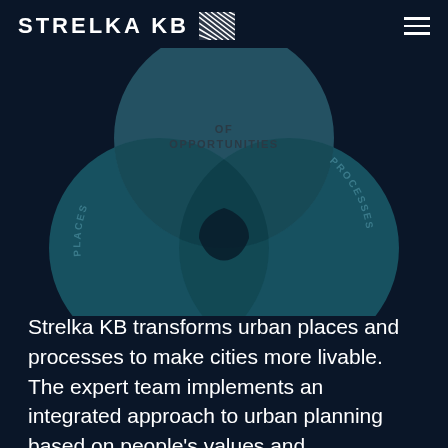STRELKA KB
[Figure (infographic): Venn/Euler diagram with three overlapping circles on a dark navy background. The top circle (lighter teal-gray) is labeled 'OF OPPORTUNITIES' in dark text. The bottom-left circle (teal) is labeled 'PLACES' along its arc. The bottom-right circle (teal) is labeled 'PROCESSES' along its arc. The overlapping intersections create darker areas where the circles overlap.]
Strelka KB transforms urban places and processes to make cities more livable. The expert team implements an integrated approach to urban planning based on people's values and experiences as well as the